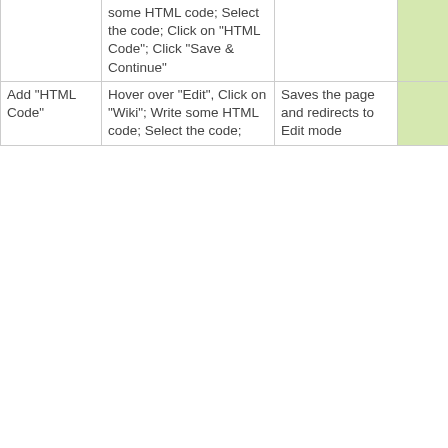|  |  |  |  |  |  |
| --- | --- | --- | --- | --- | --- |
|  | some HTML code; Select the code; Click on "HTML Code"; Click "Save & Continue" |  |  | - | - |
| Add "HTML Code" | Hover over "Edit", Click on "Wiki"; Write some HTML code; Select the code; | Saves the page and redirects to Edit mode |  | - | - |